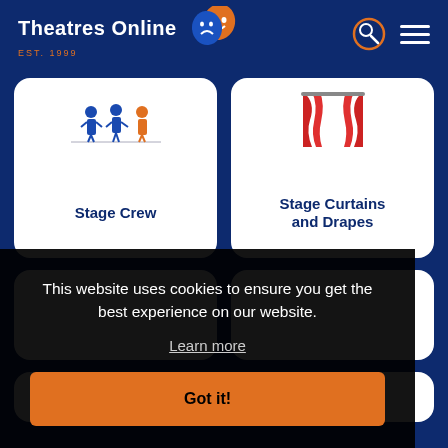Theatres Online EST. 1999
Stage Crew
Stage Curtains and Drapes
This website uses cookies to ensure you get the best experience on our website.
Learn more
Got it!